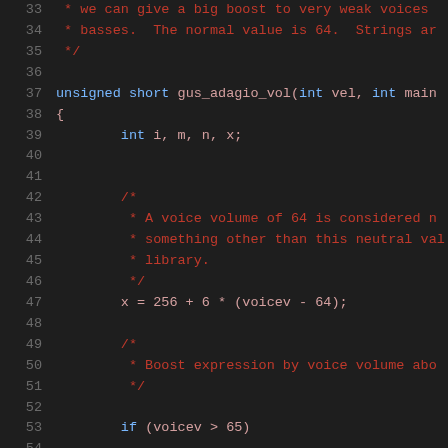Source code listing lines 33-54, C programming language